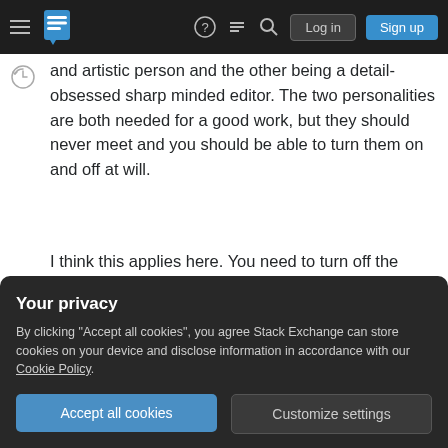Stack Exchange navigation bar with hamburger menu, logo, help, chat, search icons, Log in and Sign up buttons
and artistic person and the other being a detail-obsessed sharp minded editor. The two personalities are both needed for a good work, but they should never meet and you should be able to turn them on and off at will.
I think this applies here. You need to turn off the Creative, Artistic side and whip out Spock the Editor when dealing with criticism. Then, when it is time for more first drafts and creativity, bring out the Artist again and send Spock back to his closet.
Your privacy
By clicking "Accept all cookies", you agree Stack Exchange can store cookies on your device and disclose information in accordance with our Cookie Policy.
Accept all cookies   Customize settings